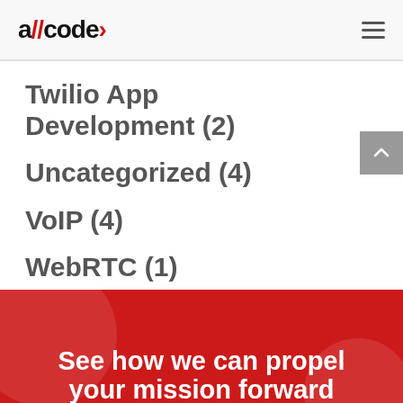allcode> [hamburger menu]
Twilio App Development (2)
Uncategorized (4)
VoIP (4)
WebRTC (1)
See how we can propel your mission forward